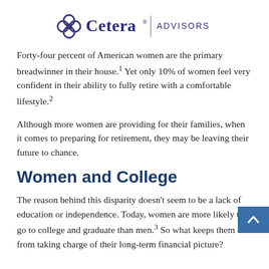[Figure (logo): Cetera Advisors logo with circular flower-like icon and a vertical divider before 'ADVISORS' text]
Forty-four percent of American women are the primary breadwinner in their house.1 Yet only 10% of women feel very confident in their ability to fully retire with a comfortable lifestyle.2
Although more women are providing for their families, when it comes to preparing for retirement, they may be leaving their future to chance.
Women and College
The reason behind this disparity doesn't seem to be a lack of education or independence. Today, women are more likely to go to college and graduate than men.3 So what keeps them from taking charge of their long-term financial picture?